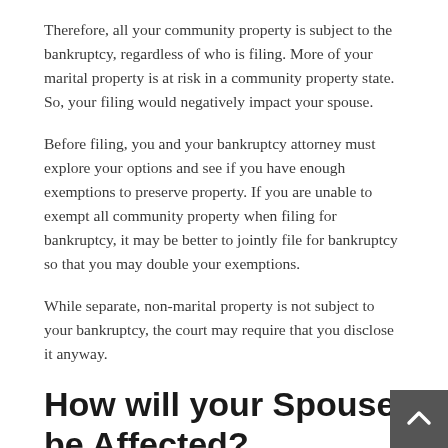Therefore, all your community property is subject to the bankruptcy, regardless of who is filing. More of your marital property is at risk in a community property state. So, your filing would negatively impact your spouse.
Before filing, you and your bankruptcy attorney must explore your options and see if you have enough exemptions to preserve property. If you are unable to exempt all community property when filing for bankruptcy, it may be better to jointly file for bankruptcy so that you may double your exemptions.
While separate, non-marital property is not subject to your bankruptcy, the court may require that you disclose it anyway.
How will your Spouse be Affected?
While there are some negatives for your spouse when filing in a community property state, there are some positives to your case. First, you will receive a discharge on your credit report. All community property that is owned by your spouse cannot be